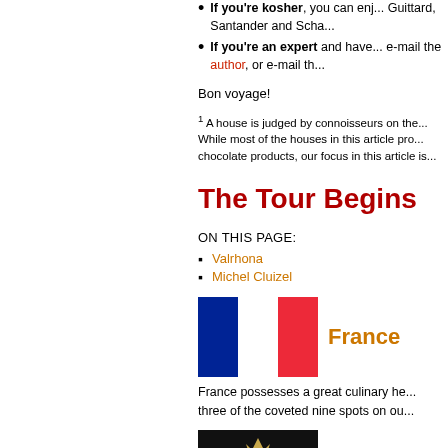If you're kosher, you can enjoy Guittard, Santander and Scha...
If you're an expert and have... e-mail the author, or e-mail th...
Bon voyage!
1 A house is judged by connoisseurs on the... While most of the houses in this article pro... chocolate products, our focus in this article is...
The Tour Begins
ON THIS PAGE:
Valrhona
Michel Cluizel
[Figure (illustration): French flag (blue, white, red vertical stripes) with 'France' label in orange]
France possesses a great culinary he... three of the coveted nine spots on ou...
[Figure (logo): Valrhona logo - gold text on black background]